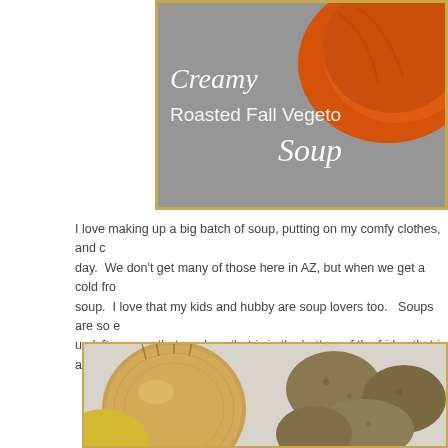[Figure (photo): Top food photo with orange squash/pumpkin on gray surface with title overlay 'Creamy Roasted Fall Vegetable Soup' in white text, framed with gold border]
Creamy Roasted Fall Vegetable Soup
I love making up a big batch of soup, putting on my comfy clothes, and c... day.  We don't get many of those here in AZ, but when we get a cold fro... soup.  I love that my kids and hubby are soup lovers too.   Soups are so e... up leftovers or that produce that is in the bottom of the fridge that is a litt...
[Figure (photo): Bottom food photo showing a whole onion and several russet potatoes on a light surface, framed with gold border]